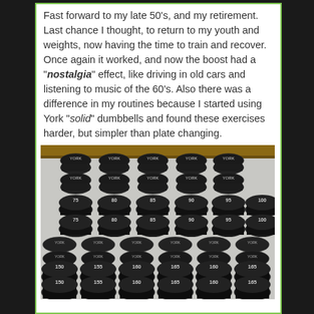Fast forward to my late 50's, and my retirement. Last chance I thought, to return to my youth and weights, now having the time to train and recover. Once again it worked, and now the boost had a "nostalgia" effect, like driving in old cars and listening to music of the 60's. Also there was a difference in my routines because I started using York "solid" dumbbells and found these exercises harder, but simpler than plate changing.
[Figure (photo): A collection of York solid dumbbells arranged in rows, showing various weights (75 to 155 lbs), black iron dumbbells with round heads, displayed on a light surface.]